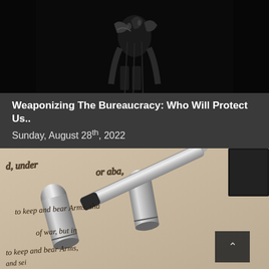[Figure (photo): Black and white photo of a figure, possibly Lady Justice or a dark silhouette, against a very dark background with metallic or glossy elements]
Weaponizing The Bureaucracy: Who Will Protect Us..
Sunday, August 28th, 2022
[Figure (photo): Black and white close-up photo of bullets resting on a handwritten document with cursive text reading 'to keep and bear Arms, sha...' and 'of war, but in...' and 'and sei...' — referencing the Second Amendment]